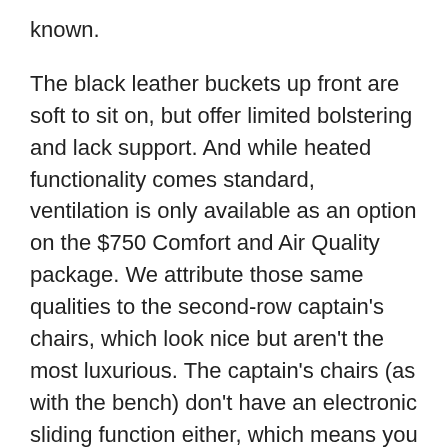known.
The black leather buckets up front are soft to sit on, but offer limited bolstering and lack support. And while heated functionality comes standard, ventilation is only available as an option on the $750 Comfort and Air Quality package. We attribute those same qualities to the second-row captain's chairs, which look nice but aren't the most luxurious. The captain's chairs (as with the bench) don't have an electronic sliding function either, which means you have to pull a tab on the shoulder and shove the seat forward for third-row access.
Once in the third row, the XT6 has the best headroom in the class – a solid 37.2 inches. That beats the next-best Volvo XC90 by nearly an inch. Unfortunately, legroom leaves something to be desired. The XT6's